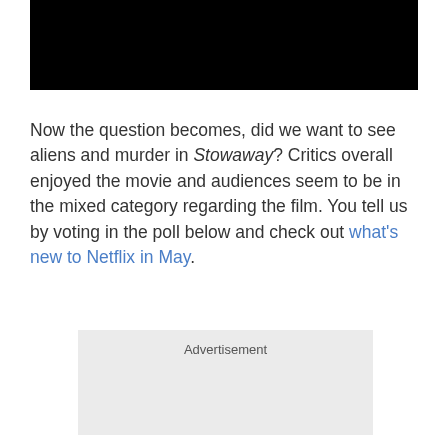[Figure (photo): Black banner/image area at the top of the page]
Now the question becomes, did we want to see aliens and murder in Stowaway? Critics overall enjoyed the movie and audiences seem to be in the mixed category regarding the film. You tell us by voting in the poll below and check out what's new to Netflix in May.
Advertisement